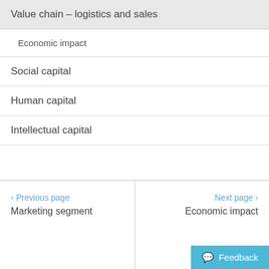Value chain – logistics and sales
Economic impact
Social capital
Human capital
Intellectual capital
< Previous page  Marketing segment     Next page >  Economic impact  Feedback